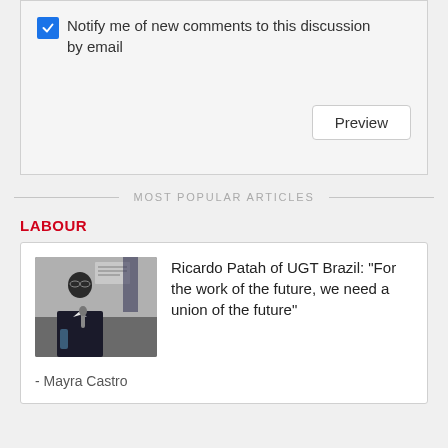Notify me of new comments to this discussion by email
Preview
MOST POPULAR ARTICLES
LABOUR
[Figure (photo): Photo of Ricardo Patah speaking at a podium]
Ricardo Patah of UGT Brazil: “For the work of the future, we need a union of the future”
- Mayra Castro